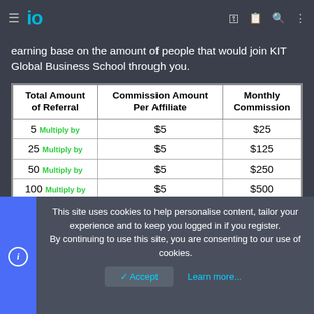io (logo) — navigation bar with hamburger menu, key, clipboard, search, and more icons
earning base on the amount of people that would join KIT Global Business School through you.
| Total Amount of Referral | Commission Amount Per Affiliate | Monthly Commission |
| --- | --- | --- |
| 5  Multiply by | $5 | $25 |
| 25  Multiply by | $5 | $125 |
| 50  Multiply by | $5 | $250 |
| 100  Multiply by | $5 | $500 |
This site uses cookies to help personalise content, tailor your experience and to keep you logged in if you register.
By continuing to use this site, you are consenting to our use of cookies.
✓ Accept    Learn more...